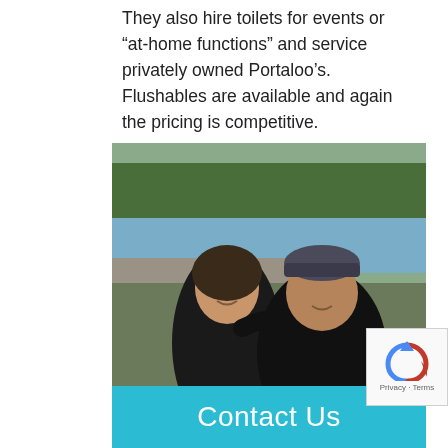They also hire toilets for events or “at-home functions” and service privately owned Portaloo’s. Flushables are available and again the pricing is competitive.
[Figure (photo): Two people (a man and a woman) standing outdoors near a lake with trees and mountains in the background. The woman is on the left wearing a dark vest, the man is on the right wearing a dark sweater and cap.]
Contact Us